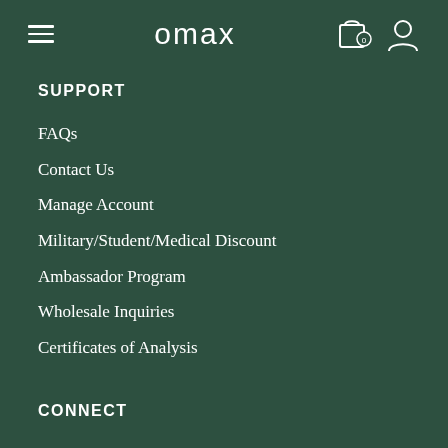omax
SUPPORT
FAQs
Contact Us
Manage Account
Military/Student/Medical Discount
Ambassador Program
Wholesale Inquiries
Certificates of Analysis
CONNECT
Instagram
Youtube
Facebook